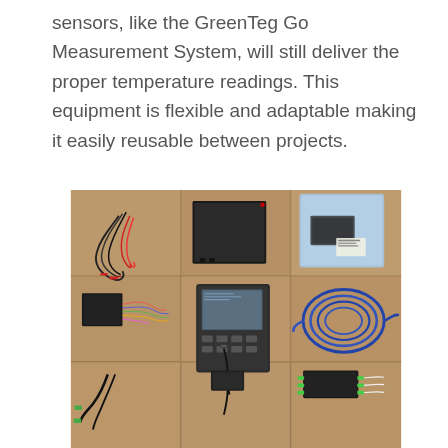sensors, like the GreenTeg Go Measurement System, will still deliver the proper temperature readings. This equipment is flexible and adaptable making it easily reusable between projects.
[Figure (photo): Photo of GreenTeg Go Measurement System components laid out on a tile floor, including cables with alligator clips, a black box unit, a blue plastic bag with accessories, a black sensor pad with colored wires, a handheld data logger device, blue coiled cable, a power adapter/charger, a junction box with green connectors, and various other cables and connectors.]